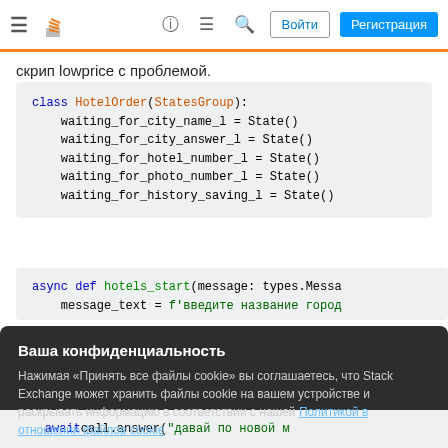[Figure (screenshot): Stack Overflow navigation bar with hamburger menu, logo, icons, login and register buttons]
скрип lowprice с проблемой.
[Figure (screenshot): Python code block showing HotelOrder class with StatesGroup and State() assignments for waiting states]
[Figure (screenshot): Python code snippet showing async def hotels_start function definition]
Ваша конфиденциальность
Нажимая «Принять все файлы cookie» вы соглашаетесь, что Stack Exchange может хранить файлы cookie на вашем устройстве и раскрывать информацию в соответствии с нашей Политикой в отношении файлов cookie.
Принять все файлы cookie    Настроить параметры
[Figure (screenshot): Python code line: await call.answer("давай по новой м]